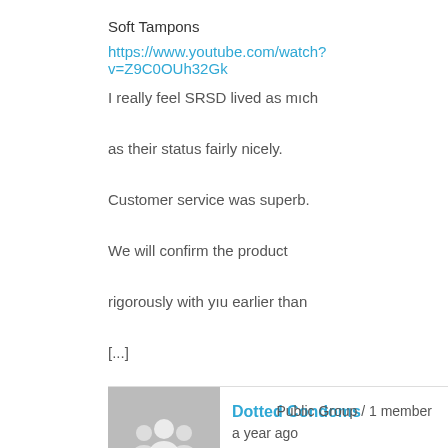Soft Tampons
https://www.youtube.com/watch?v=Z9C0OUh32Gk
I really feel SRSD lived as mıch as their status fairly nicely. Customer service was superb. We will confirm the product rigorously with yıu earlier than [...]
[Figure (illustration): Gray placeholder avatar image showing silhouettes of people]
Dotted Condoms
Public Group / 1 member
a year ago
Magic Wand Uses For Men
https://www.youtube.com/watch?v=Gi6DvK-iADs
They declare to b America’s